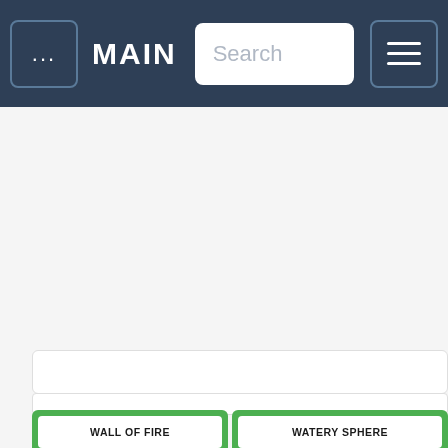... MAIN Search ☰
WALL OF FIRE
WATERY SPHERE